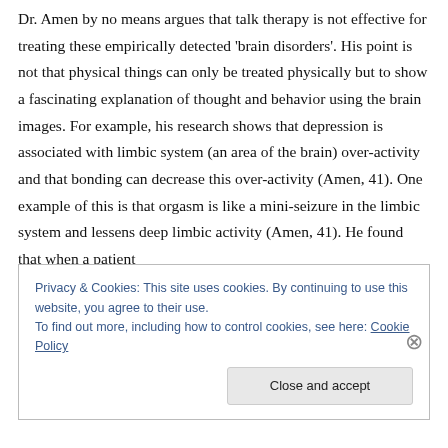Dr. Amen by no means argues that talk therapy is not effective for treating these empirically detected 'brain disorders'. His point is not that physical things can only be treated physically but to show a fascinating explanation of thought and behavior using the brain images. For example, his research shows that depression is associated with limbic system (an area of the brain) over-activity and that bonding can decrease this over-activity (Amen, 41). One example of this is that orgasm is like a mini-seizure in the limbic system and lessens deep limbic activity (Amen, 41). He found that when a patient
Privacy & Cookies: This site uses cookies. By continuing to use this website, you agree to their use.
To find out more, including how to control cookies, see here: Cookie Policy